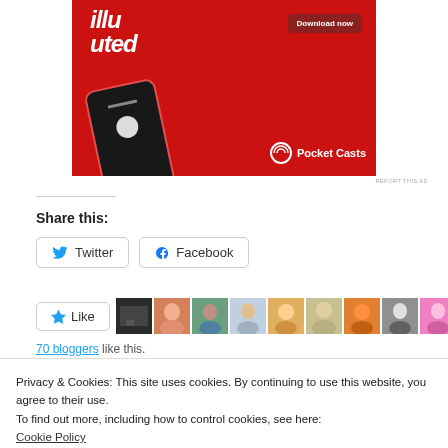[Figure (photo): Pocket Casts app advertisement on red background with smartphone mockup and 'Download now' button]
REPORT THIS AD
Share this:
Twitter
Facebook
[Figure (other): Like button with star icon and row of blogger avatar thumbnails]
70 bloggers like this.
Privacy & Cookies: This site uses cookies. By continuing to use this website, you agree to their use.
To find out more, including how to control cookies, see here:
Cookie Policy
Close and accept
August Favourites